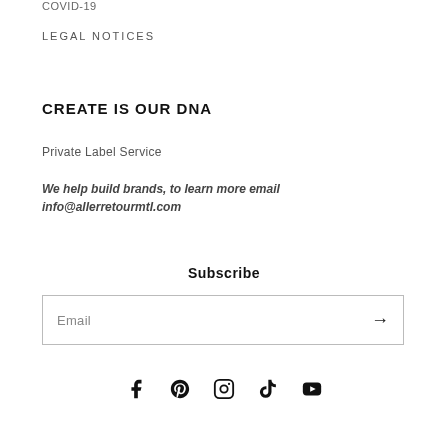COVID-19
LEGAL NOTICES
CREATE IS OUR DNA
Private Label Service
We help build brands, to learn more email info@allerretourmtl.com
Subscribe
Email
[Figure (infographic): Social media icons: Facebook, Pinterest, Instagram, TikTok, YouTube]